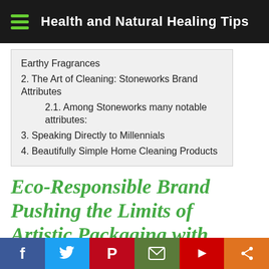Health and Natural Healing Tips
Earthy Fragrances
2. The Art of Cleaning: Stoneworks Brand Attributes
2.1. Among Stoneworks many notable attributes:
3. Speaking Directly to Millennials
4. Beautifully Simple Home Cleaning Products
Eco-Responsible Brand Pushing the Limits of Artistic Packaging with